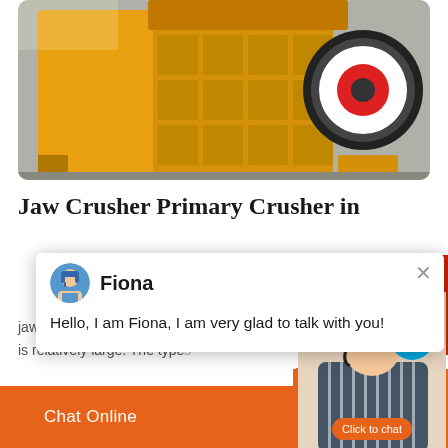[Figure (photo): Yellow jaw crusher machinery in a warehouse/factory setting, large industrial crushing equipment with black flywheel and red/white circular element visible.]
Jaw Crusher Primary Crusher in
[Figure (screenshot): Chat popup with avatar of agent named Fiona. Text reads: Hello, I am Fiona, I am very glad to talk with you!]
jaw stone crushers are mainly used for pri... crushing stone is relatively large. The types
[Figure (photo): Customer service agent woman in striped blue shirt with notification badge showing number 1 and Click to chat button]
Chat Online   cywaitml @gmail.com